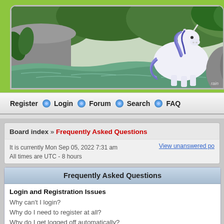[Figure (illustration): Forum banner with illustrated fantasy scene: a white unicorn-like creature near a rocky stream with green foliage, watercolor style. Text 'rain' partially visible bottom right. Set on lime-green background.]
Register  Login  Forum  Search  FAQ
Board index » Frequently Asked Questions
It is currently Mon Sep 05, 2022 7:31 am
All times are UTC - 8 hours
View unanswered po
Frequently Asked Questions
Login and Registration Issues
Why can't I login?
Why do I need to register at all?
Why do I get logged off automatically?
How do I prevent my username appearing in the online user listings?
I've lost my password!
I registered but cannot login!
I registered in the past but cannot login any more?!
What is COPPA?
Why can't I register?